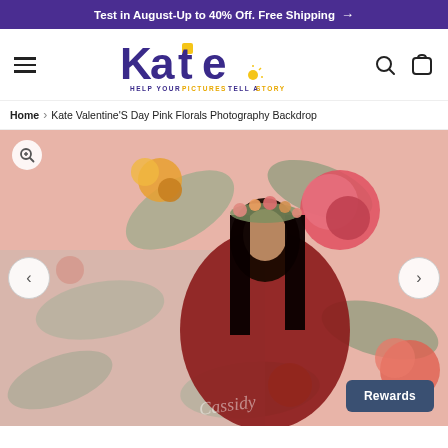Test in August-Up to 40% Off. Free Shipping →
[Figure (logo): Kate backdrop company logo with tagline 'Help Your Pictures Tell A Story']
Home › Kate Valentine'S Day Pink Florals Photography Backdrop
[Figure (photo): Pregnant woman in red dress with floral crown standing in front of pink floral photography backdrop. Watermark 'Cassidy' visible at bottom.]